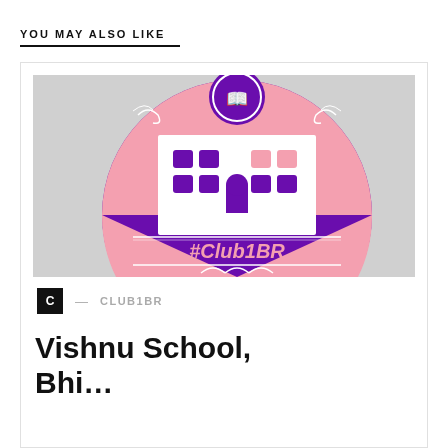YOU MAY ALSO LIKE
[Figure (logo): Club1BR school logo: circular badge with pink and purple coloring, a white building with windows and arched door, decorative scrollwork, and '#Club1BR' text at the bottom]
C — CLUB1BR
Vishnu School, Bhi…